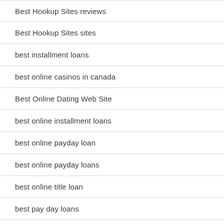Best Hookup Sites reviews
Best Hookup Sites sites
best installment loans
best online casinos in canada
Best Online Dating Web Site
best online installment loans
best online payday loan
best online payday loans
best online title loan
best pay day loans